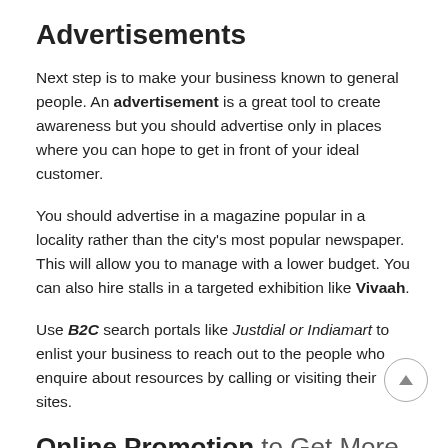Advertisements
Next step is to make your business known to general people. An advertisement is a great tool to create awareness but you should advertise only in places where you can hope to get in front of your ideal customer.
You should advertise in a magazine popular in a locality rather than the city's most popular newspaper. This will allow you to manage with a lower budget. You can also hire stalls in a targeted exhibition like Vivaah.
Use B2C search portals like Justdial or Indiamart to enlist your business to reach out to the people who enquire about resources by calling or visiting their sites.
Online Promotion to Get More Clients
In today's world, a strong online presence is a must for any business. You, as a marriage planner should have a